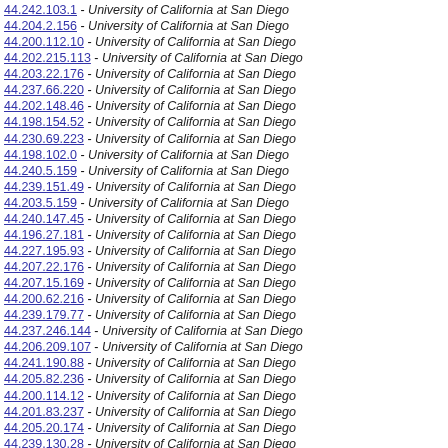44.242.103.1 - University of California at San Diego
44.204.2.156 - University of California at San Diego
44.200.112.10 - University of California at San Diego
44.202.215.113 - University of California at San Diego
44.203.22.176 - University of California at San Diego
44.237.66.220 - University of California at San Diego
44.202.148.46 - University of California at San Diego
44.198.154.52 - University of California at San Diego
44.230.69.223 - University of California at San Diego
44.198.102.0 - University of California at San Diego
44.240.5.159 - University of California at San Diego
44.239.151.49 - University of California at San Diego
44.203.5.159 - University of California at San Diego
44.240.147.45 - University of California at San Diego
44.196.27.181 - University of California at San Diego
44.227.195.93 - University of California at San Diego
44.207.22.176 - University of California at San Diego
44.207.15.169 - University of California at San Diego
44.200.62.216 - University of California at San Diego
44.239.179.77 - University of California at San Diego
44.237.246.144 - University of California at San Diego
44.206.209.107 - University of California at San Diego
44.241.190.88 - University of California at San Diego
44.205.82.236 - University of California at San Diego
44.200.114.12 - University of California at San Diego
44.201.83.237 - University of California at San Diego
44.205.20.174 - University of California at San Diego
44.239.130.28 - University of California at San Diego
44.203.41.195 - University of California at San Diego
44.200.220.118 - University of California at San Diego